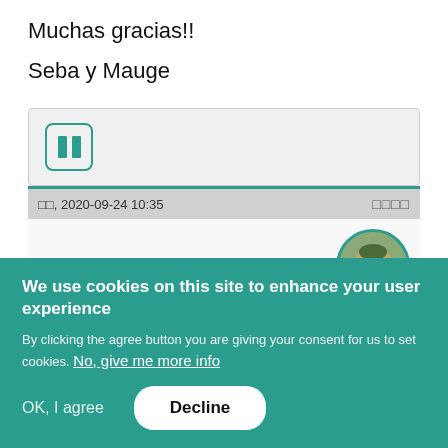Muchas gracias!!
Seba y Mauge
[Figure (other): Gray card box with teal icon showing two vertical bars (image placeholder icon)]
□□, 2020-09-24 10:35    □□□□
[Figure (photo): Circular avatar photo with teal border showing a person outdoors]
WS Member
We use cookies on this site to enhance your user experience
By clicking the agree button you are giving your consent for us to set cookies. No, give me more info
OK, I agree
Decline